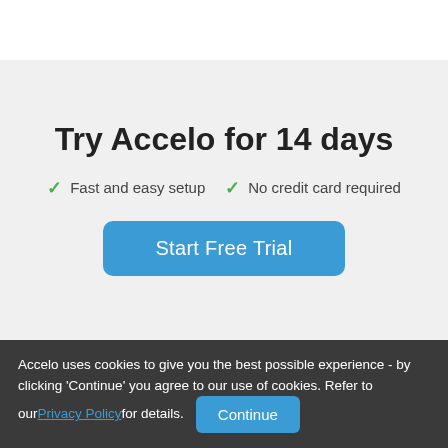Try Accelo for 14 days
Fast and easy setup
No credit card required
Start Free Trial
Accelo uses cookies to give you the best possible experience - by clicking 'Continue' you agree to our use of cookies. Refer to our Privacy Policy for details.
Continue